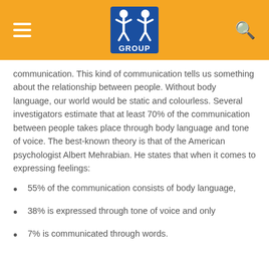TT GROUP
communication. This kind of communication tells us something about the relationship between people. Without body language, our world would be static and colourless. Several investigators estimate that at least 70% of the communication between people takes place through body language and tone of voice. The best-known theory is that of the American psychologist Albert Mehrabian. He states that when it comes to expressing feelings:
55% of the communication consists of body language,
38% is expressed through tone of voice and only
7% is communicated through words.